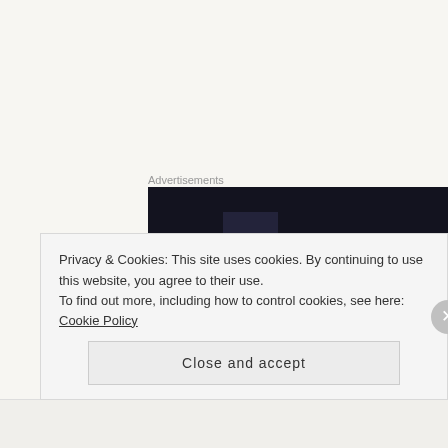Advertisements
[Figure (other): Dark advertisement banner block with partial content visible at bottom]
As for the film itself, I'd say that Captain Marvel is a perfectly entertaining film, one that's bound to be enjoyed and treasured by many and there's nothing really wrong with it but at the same time, it can't compete with some of
Privacy & Cookies: This site uses cookies. By continuing to use this website, you agree to their use.
To find out more, including how to control cookies, see here: Cookie Policy
Close and accept